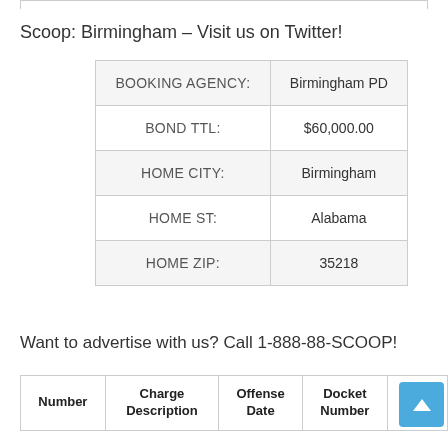Scoop: Birmingham – Visit us on Twitter!
|  |  |
| --- | --- |
| BOOKING AGENCY: | Birmingham PD |
| BOND TTL: | $60,000.00 |
| HOME CITY: | Birmingham |
| HOME ST: | Alabama |
| HOME ZIP: | 35218 |
Want to advertise with us? Call 1-888-88-SCOOP!
| Number | Charge Description | Offense Date | Docket Number | Dat |
| --- | --- | --- | --- | --- |